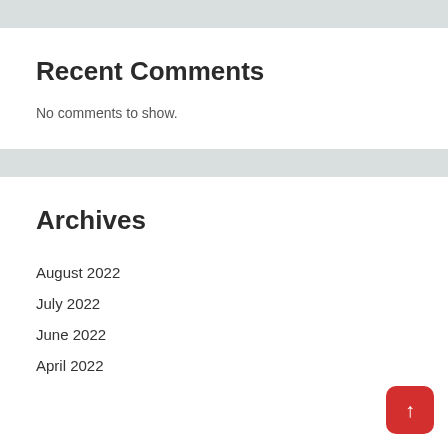Recent Comments
No comments to show.
Archives
August 2022
July 2022
June 2022
April 2022